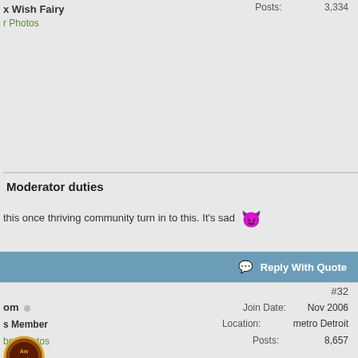x Wish Fairy
r Photos
Posts: 3,334
Moderator duties
this once thriving community turn in to this. It's sad 😈
Reply With Quote
#32
om ○
s Member
ber Photos
Join Date: Nov 2006
Location: metro Detroit
Posts: 8,657
Moderator duties
The advent of FB was the beginning coupled with increasingly